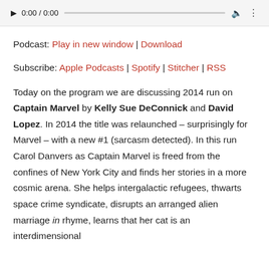[Figure (other): Audio player bar showing play button, time 0:00 / 0:00, progress bar, volume icon, and menu icon]
Podcast: Play in new window | Download
Subscribe: Apple Podcasts | Spotify | Stitcher | RSS
Today on the program we are discussing 2014 run on Captain Marvel by Kelly Sue DeConnick and David Lopez. In 2014 the title was relaunched – surprisingly for Marvel – with a new #1 (sarcasm detected). In this run Carol Danvers as Captain Marvel is freed from the confines of New York City and finds her stories in a more cosmic arena. She helps intergalactic refugees, thwarts space crime syndicate, disrupts an arranged alien marriage in rhyme, learns that her cat is an interdimensional